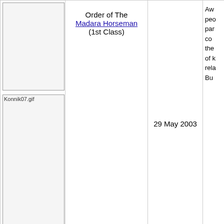[Figure (photo): Image placeholder (blank/empty image for Order of the Madara Horseman 1st Class)]
Order of The Madara Horseman (1st Class)
29 May 2003
Aw
peo
par
co
the
of k
rela
Bu
[Figure (photo): Konnik07.gif - image of Order of the Madara Horseman 2nd Class]
Order of The Madara Horseman (2nd Class)
[Figure (photo): Орден «За гражданска заслуга» I степен.gif]
Order For Civil Merit